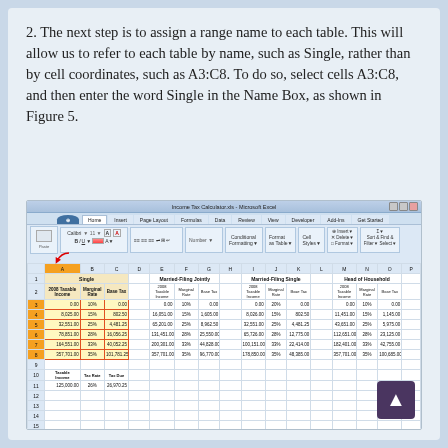2. The next step is to assign a range name to each table. This will allow us to refer to each table by name, such as Single, rather than by cell coordinates, such as A3:C8. To do so, select cells A3:C8, and then enter the word Single in the Name Box, as shown in Figure 5.
[Figure (screenshot): Microsoft Excel spreadsheet screenshot showing income tax calculator with multiple tables (Single, Married-Filing Jointly, Married-Filing Single, Head of Household). The Name Box shows 'Single' with a red arrow annotation. Cells A3:C8 are highlighted with a red border.]